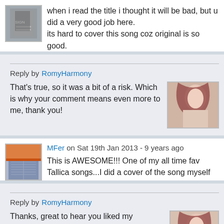when i read the title i thought it will be bad, but u did a very good job here.
its hard to cover this song coz original is so good.
Reply by RomyHarmony
That's true, so it was a bit of a risk. Which is why your comment means even more to me, thank you!
MFer on Sat 19th Jan 2013 - 9 years ago
This is AWESOME!!! One of my all time fav Tallica songs...I did a cover of the song myself
Reply by RomyHarmony
Thanks, great to hear you liked my